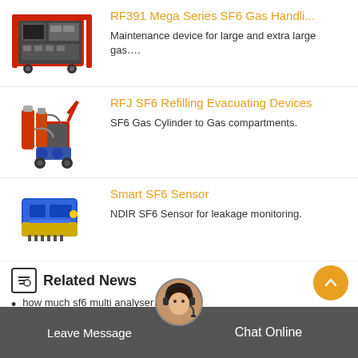[Figure (photo): RF391 Mega Series SF6 Gas Handling device - large red industrial machine on wheels]
RF391 Mega Series SF6 Gas Handli...
Maintenance device for large and extra large gas….
[Figure (photo): RFJ SF6 Refilling Evacuating Device - red cart-mounted equipment with cylinders]
RFJ SF6 Refilling Evacuating Devices
SF6 Gas Cylinder to Gas compartments.
[Figure (photo): Smart SF6 Sensor - blue and yellow compact electronic sensor device]
Smart SF6 Sensor
NDIR SF6 Sensor for leakage monitoring.
Related News
how much sf6 multi analyser… egypt
Leave Message   Chat Online